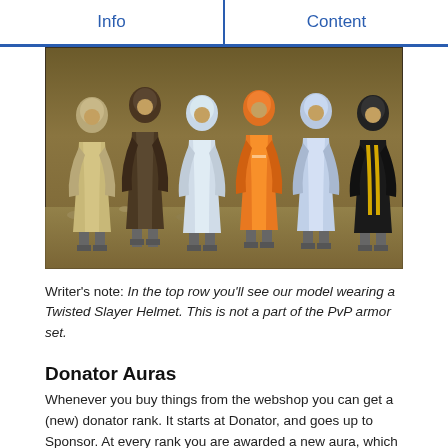Info | Content
[Figure (photo): Six game character models wearing different colored robes/armor sets: tan/gray, dark brown, light blue/white, orange, light blue, and black/yellow. Set against a sandy brown background.]
Writer's note: In the top row you'll see our model wearing a Twisted Slayer Helmet. This is not a part of the PvP armor set.
Donator Auras
Whenever you buy things from the webshop you can get a (new) donator rank. It starts at Donator, and goes up to Sponsor. At every rank you are awarded a new aura, which has certain